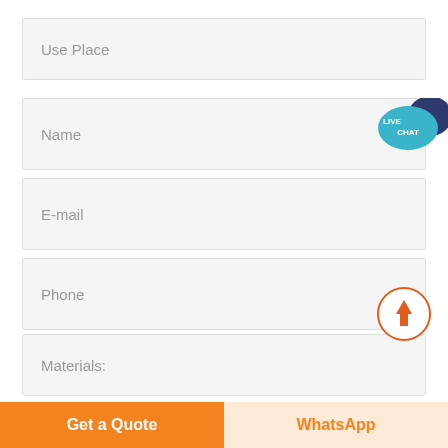Use Place
Name
E-mail
Phone
Materials:
[Figure (illustration): Live Chat speech bubble icon with teal/blue color, text LIVE CHAT in white]
[Figure (illustration): Scroll-to-top circular button with orange arrow pointing up]
Dolomite (checked checkbox)
Calcite (unchecked checkbox)
Quartz (unchecked checkbox)
Basalt (unchecked checkbox)
Get a Quote
WhatsApp